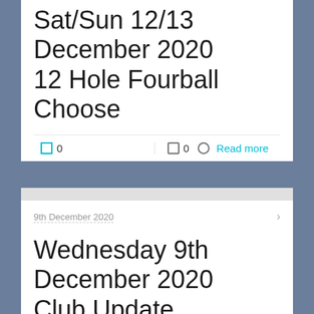Sat/Sun 12/13 December 2020 12 Hole Fourball Choose
0   0   Read more
9th December 2020
Wednesday 9th December 2020 Club Update
2   0   Read more